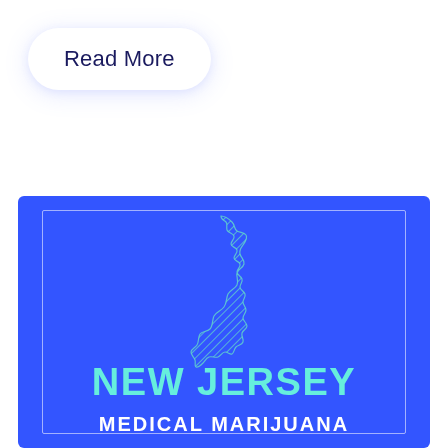Read More
[Figure (illustration): Blue card with outline map of New Jersey shown with diagonal hatching pattern, text 'NEW JERSEY' in cyan and 'MEDICAL MARIJUANA' in white below the map, on a bright blue background with white border inset.]